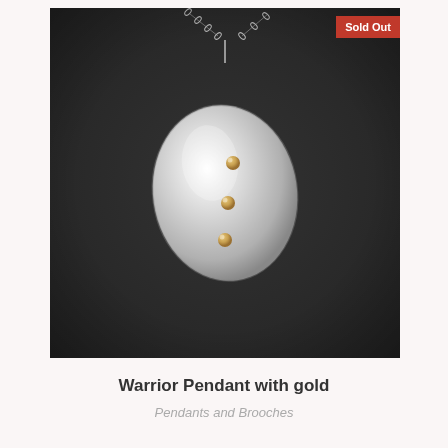[Figure (photo): A silver warrior pendant with three small gold ball accents, cup-shaped and polished, hanging on a silver chain against a dark charcoal background. A red 'Sold Out' badge is shown in the top right corner of the image.]
Warrior Pendant with gold
Pendants and Brooches